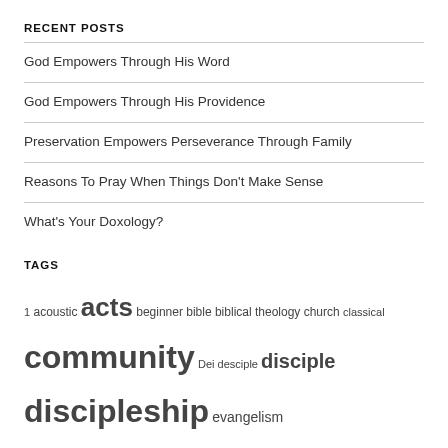RECENT POSTS
God Empowers Through His Word
God Empowers Through His Providence
Preservation Empowers Perseverance Through Family
Reasons To Pray When Things Don't Make Sense
What's Your Doxology?
TAGS
1 acoustic acts beginner bible biblical theology church classical community Dei desciple disciple discipleship evangelism faith family featured God grace guitar healing hermeneutics